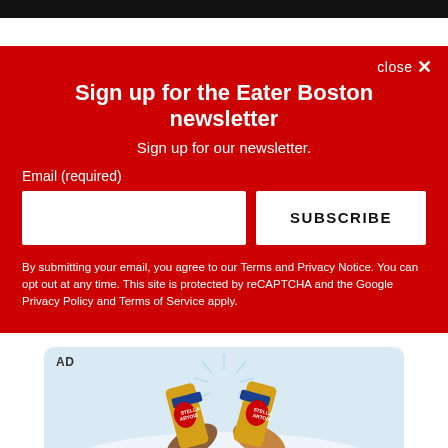Sign up for the Eater Boston newsletter
Sign up for our newsletter.
Email (required)
SUBSCRIBE
By submitting your email, you agree to our Terms and Privacy Notice. You can opt out at any time. This site is protected by reCAPTCHA and the Google Privacy Policy and Terms of Service apply.
[Figure (illustration): AD banner showing two illustrated hands clinking Stella Artois beer cans against a light blue background]